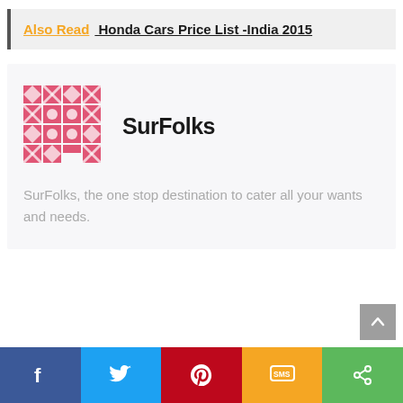Also Read  Honda Cars Price List -India 2015
[Figure (logo): SurFolks logo - pink geometric/pixel pattern square logo]
SurFolks
SurFolks, the one stop destination to cater all your wants and needs.
[Figure (infographic): Social share bar with Facebook, Twitter, Pinterest, SMS, and Share buttons]